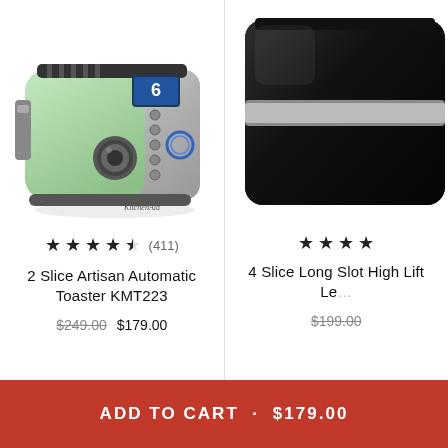[Figure (photo): KitchenAid 2-slice green Artisan Automatic Toaster KMT223 on white background]
★★★★☆ (411)
2 Slice Artisan Automatic Toaster KMT223
$249.00  $179.00
[Figure (photo): KitchenAid 4-slice black toaster partially visible]
★★★★
4 Slice Long Slot High Lift Le...
$199.00...
ADD TO CART · $179.00